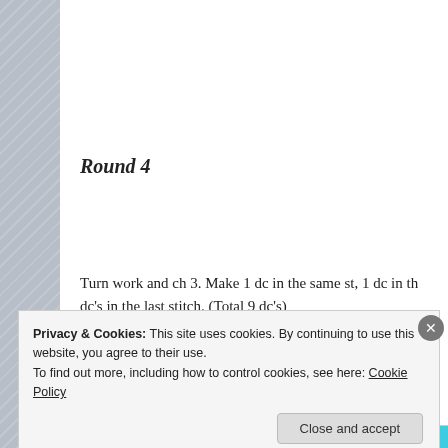Round 4
Turn work and ch 3. Make 1 dc in the same st, 1 dc in th… dc's in the last stitch. (Total 9 dc's)
[Figure (photo): A teal/turquoise crochet hook inserted into light blue yarn stitches, showing crochet work in progress on a white background.]
Privacy & Cookies: This site uses cookies. By continuing to use this website, you agree to their use.
To find out more, including how to control cookies, see here: Cookie Policy
Close and accept